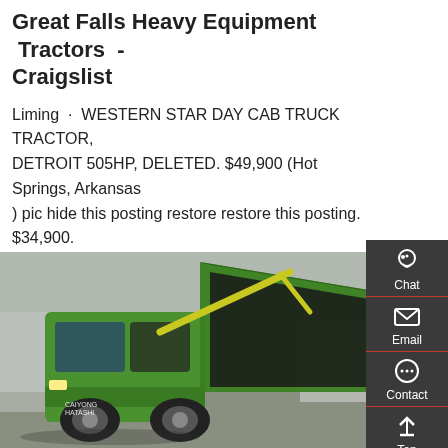Great Falls Heavy Equipment  Tractors  -  Craigslist
Liming · WESTERN STAR DAY CAB TRUCK TRACTOR, DETROIT 505HP, DELETED. $49,900 (Hot Springs, Arkansas ) pic hide this posting restore restore this posting. $34,900. favorite this post Dec 19.
[Figure (other): Orange 'Get a Quote' button]
[Figure (photo): Green dump truck with raised bed in a vehicle lot]